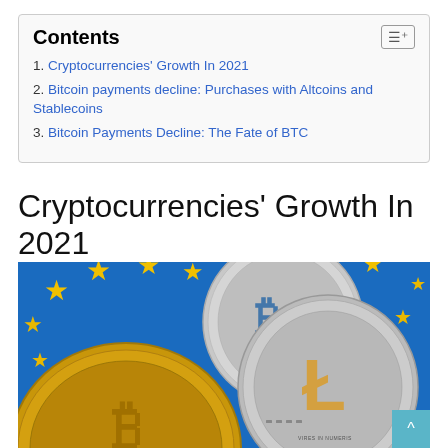Contents
1. Cryptocurrencies' Growth In 2021
2. Bitcoin payments decline: Purchases with Altcoins and Stablecoins
3. Bitcoin Payments Decline: The Fate of BTC
Cryptocurrencies' Growth In 2021
[Figure (photo): Photo of cryptocurrency coins (Bitcoin, Litecoin, and another silver coin) stacked in front of an EU flag with blue background and yellow stars]